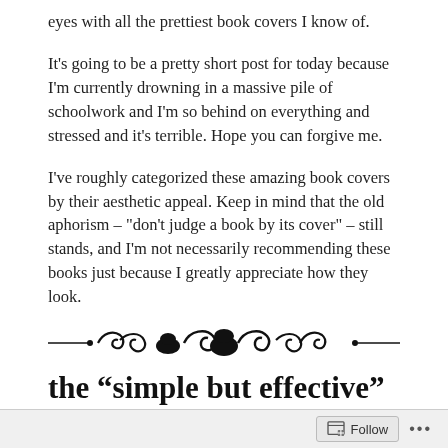eyes with all the prettiest book covers I know of.
It’s going to be a pretty short post for today because I’m currently drowning in a massive pile of schoolwork and I’m so behind on everything and stressed and it’s terrible. Hope you can forgive me.
I’ve roughly categorized these amazing book covers by their aesthetic appeal. Keep in mind that the old aphorism – “don’t judge a book by its cover” – still stands, and I’m not necessarily recommending these books just because I greatly appreciate how they look.
[Figure (illustration): Decorative ornamental divider with scrollwork and flourishes in black]
the “simple but effective”
Follow ...